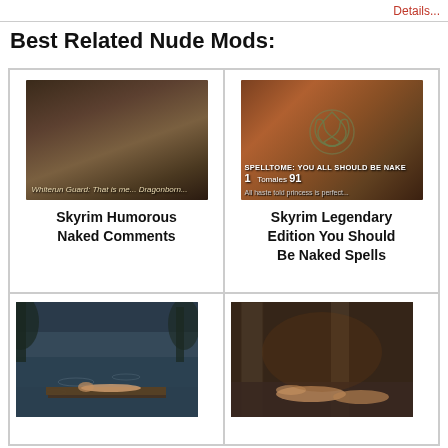Best Related Nude Mods:
[Figure (screenshot): Skyrim game screenshot showing two characters from behind on a stone path, with subtitle text at bottom]
Skyrim Humorous Naked Comments
[Figure (screenshot): Skyrim spell tome item showing SPELLTOME: YOU ALL SHOULD BE NAKED with stats 1 and 91]
Skyrim Legendary Edition You Should Be Naked Spells
[Figure (screenshot): Skyrim outdoor water scene with figure lying on dock]
[Figure (screenshot): Skyrim interior scene with characters]